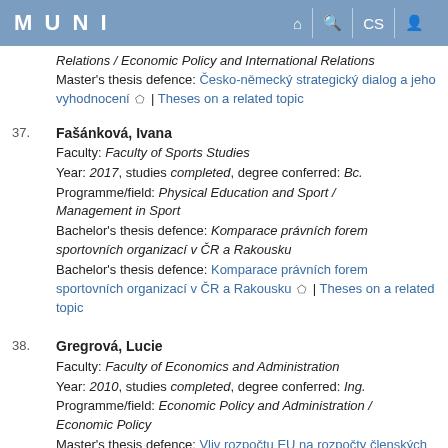MUNI
Relations / Economic Policy and International Relations
Master's thesis defence: Česko-německý strategický dialog a jeho vyhodnocení | Theses on a related topic
37. Fašánková, Ivana
Faculty: Faculty of Sports Studies
Year: 2017, studies completed, degree conferred: Bc.
Programme/field: Physical Education and Sport / Management in Sport
Bachelor's thesis defence: Komparace právních forem sportovních organizací v ČR a Rakousku
Bachelor's thesis defence: Komparace právních forem sportovních organizací v ČR a Rakousku | Theses on a related topic
38. Gregrová, Lucie
Faculty: Faculty of Economics and Administration
Year: 2010, studies completed, degree conferred: Ing.
Programme/field: Economic Policy and Administration / Economic Policy
Master's thesis defence: Vliv rozpočtu EU na rozpočty členských zemí EU | Theses on a related topic